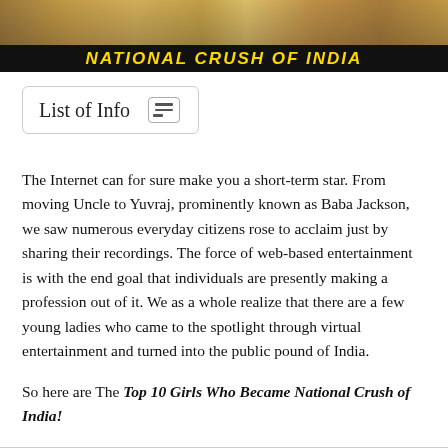[Figure (photo): Header image of people with colorful clothing, partially visible, with a dark banner overlay at the bottom showing 'NATIONAL CRUSH OF INDIA' in yellow italic bold text on a black background.]
NATIONAL CRUSH OF INDIA
List of Info
The Internet can for sure make you a short-term star. From moving Uncle to Yuvraj, prominently known as Baba Jackson, we saw numerous everyday citizens rose to acclaim just by sharing their recordings. The force of web-based entertainment is with the end goal that individuals are presently making a profession out of it. We as a whole realize that there are a few young ladies who came to the spotlight through virtual entertainment and turned into the public pound of India.
So here are The Top 10 Girls Who Became National Crush of India!